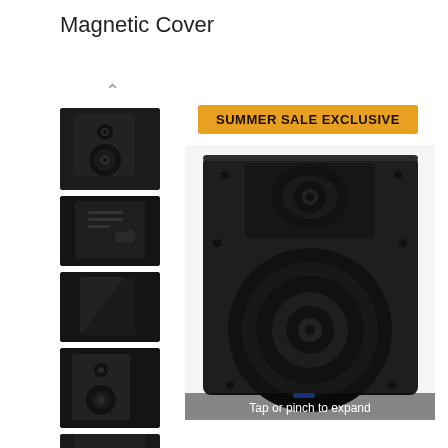Magnetic Cover
[Figure (photo): Arrow up navigation and four thumbnail images of a black studio monitor speaker from different angles: front, back, side, front slightly angled, and bottom partial view]
[Figure (infographic): Orange banner reading SUMMER SALE EXCLUSIVE]
[Figure (photo): Large main product image of a black studio monitor speaker showing front face with tweeter and woofer cone, with 'Tap or pinch to expand' overlay text at bottom]